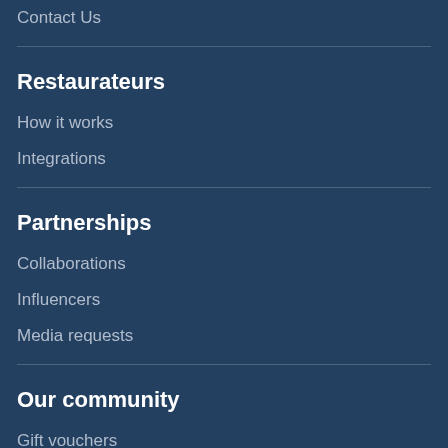Contact Us
Restaurateurs
How it works
Integrations
Partnerships
Collaborations
Influencers
Media requests
Our community
Gift vouchers
Competitions
Magazine